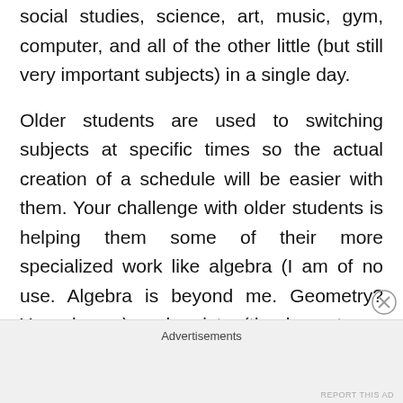social studies, science, art, music, gym, computer, and all of the other little (but still very important subjects) in a single day.
Older students are used to switching subjects at specific times so the actual creation of a schedule will be easier with them. Your challenge with older students is helping them some of their more specialized work like algebra (I am of no use. Algebra is beyond me. Geometry? Yes, please.) or chemistry (thank you to my high school boyfriend who did all of my chemistry homework).
Advertisements